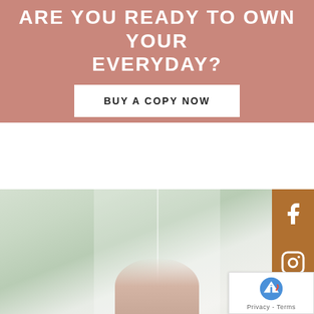ARE YOU READY TO OWN YOUR EVERYDAY?
BUY A COPY NOW
[Figure (photo): A person photographed near a bright window with trees visible outside, soft bokeh background, warm tones]
[Figure (other): Social media icons bar: Facebook and Instagram icons on brown/tan background]
[Figure (other): reCAPTCHA badge with logo and Privacy - Terms text]